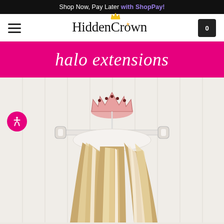Shop Now, Pay Later with ShopPay!
[Figure (logo): HiddenCrown hair extensions logo with crown icon above the 'o' in Crown, hamburger menu icon on the left, shopping cart icon showing 0 on the right]
halo extensions
[Figure (photo): Halo hair extension in blonde with highlights displayed on a white specialty hanger shaped with clips, hung from a decorative pink crown wall hook on a white beadboard wall. A pink accessibility icon is visible in the lower left.]